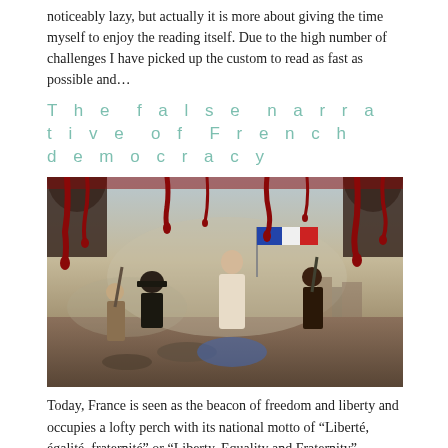noticeably lazy, but actually it is more about giving the time myself to enjoy the reading itself. Due to the high number of challenges I have picked up the custom to read as fast as possible and...
The false narrative of French democracy
[Figure (illustration): Painting resembling Delacroix's 'Liberty Leading the People' overlaid with blood drips at the top. The scene shows figures in battle with a woman holding a flag, dark dramatic tones.]
Today, France is seen as the beacon of freedom and liberty and occupies a lofty perch with its national motto of "Liberté, égalité, fraternité" or "Liberty, Equality and Fraternity".